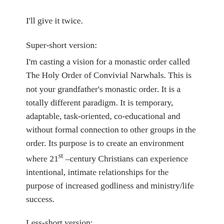I'll give it twice.
Super-short version:
I'm casting a vision for a monastic order called The Holy Order of Convivial Narwhals. This is not your grandfather's monastic order. It is a totally different paradigm. It is temporary, adaptable, task-oriented, co-educational and without formal connection to other groups in the order. Its purpose is to create an environment where 21st –century Christians can experience intentional, intimate relationships for the purpose of increased godliness and ministry/life success.
Less-short version: